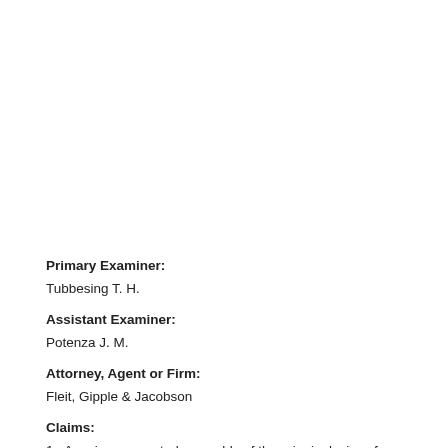Primary Examiner:
Tubbesing T. H.
Assistant Examiner:
Potenza J. M.
Attorney, Agent or Firm:
Fleit, Gipple & Jacobson
Claims:
1. A series-connected assembly of thermionic devices for the generation of